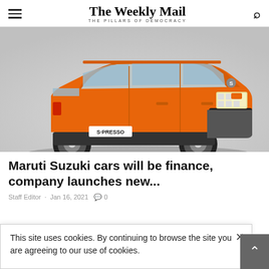The Weekly Mail — THE PILLARS OF DEMOCRACY
[Figure (photo): Orange Maruti Suzuki S-Presso compact SUV car on a light grey background, front three-quarter view]
Maruti Suzuki cars will be finance, company launches new...
Staff Editor · Jan 16, 2021 · 0
This site uses cookies. By continuing to browse the site you are agreeing to our use of cookies.